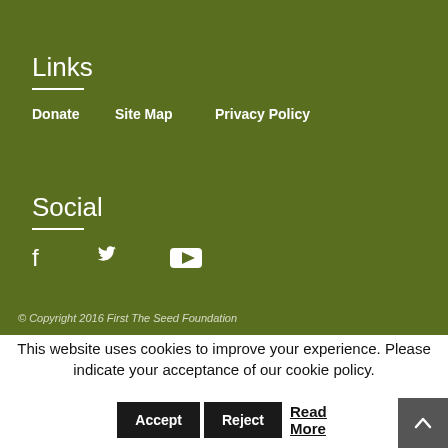Links
Donate
Site Map
Privacy Policy
Social
[Figure (infographic): Social media icons: Facebook, Twitter, YouTube]
© Copyright 2016 First The Seed Foundation
This website uses cookies to improve your experience. Please indicate your acceptance of our cookie policy.
Accept  Reject  Read More